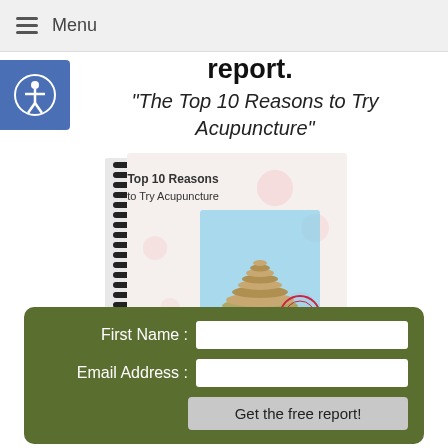≡ Menu
report.
"The Top 10 Reasons to Try Acupuncture"
[Figure (illustration): Spiral-bound book titled 'Top 10 Reasons to Try Acupuncture' with stacked stones on the cover and a decorative stamp]
First Name : [input field]
Email Address : [input field]
Get the free report! [button]